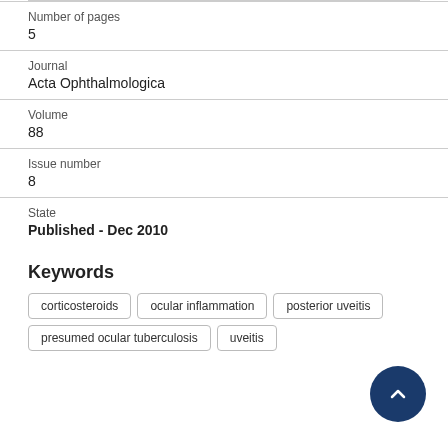Number of pages
5
Journal
Acta Ophthalmologica
Volume
88
Issue number
8
State
Published - Dec 2010
Keywords
corticosteroids
ocular inflammation
posterior uveitis
presumed ocular tuberculosis
uveitis